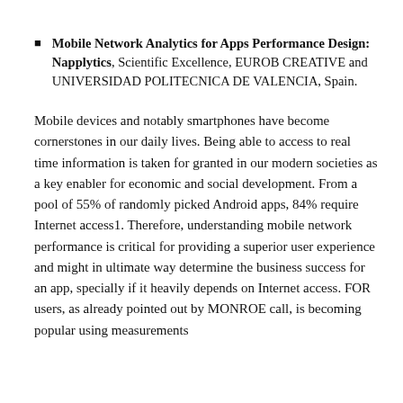Mobile Network Analytics for Apps Performance Design: Napplytics, Scientific Excellence, EUROB CREATIVE and UNIVERSIDAD POLITECNICA DE VALENCIA, Spain.
Mobile devices and notably smartphones have become cornerstones in our daily lives. Being able to access to real time information is taken for granted in our modern societies as a key enabler for economic and social development. From a pool of 55% of randomly picked Android apps, 84% require Internet access1. Therefore, understanding mobile network performance is critical for providing a superior user experience and might in ultimate way determine the business success for an app, specially if it heavily depends on Internet access. FOR users, as already pointed out by MONROE call, is becoming popular using measurements